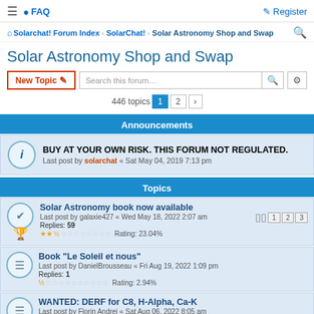☰  FAQ  Register
Solarchat! Forum Index › SolarChat! › Solar Astronomy Shop and Swap
Solar Astronomy Shop and Swap
New Topic  Search this forum…  446 topics  1  2  ›
Announcements
BUY AT YOUR OWN RISK. THIS FORUM NOT REGULATED.
Last post by solarchat « Sat May 04, 2019 7:13 pm
Topics
Solar Astronomy book now available
Last post by galaxie427 « Wed May 18, 2022 2:07 am
Replies: 59
Rating: 23.04%
Book "Le Soleil et nous"
Last post by DanielBrousseau « Fri Aug 19, 2022 1:09 pm
Replies: 1
Rating: 2.94%
WANTED: DERF for C8, H-Alpha, Ca-K
Last post by Florin Andrei « Sat Aug 06, 2022 8:05 am